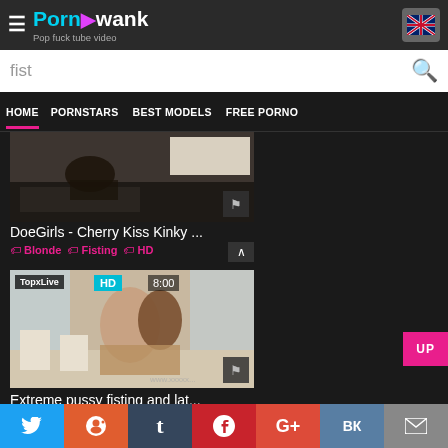PornAwank - Pop fuck tube video
fist
HOME  PORNSTARS  BEST MODELS  FREE PORNO
[Figure (screenshot): Thumbnail of video: DoeGirls - Cherry Kiss Kinky ...]
DoeGirls - Cherry Kiss Kinky ...
Blonde  Fisting  HD
[Figure (screenshot): Thumbnail of video: Extreme pussy fisting and lat... Source: TopxLive, HD, 8:00]
Extreme pussy fisting and lat...
Share buttons: Twitter, Reddit, Tumblr, Pinterest, Google+, VK, Email